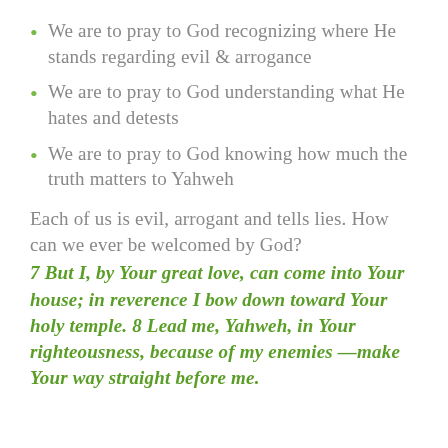We are to pray to God recognizing where He stands regarding evil & arrogance
We are to pray to God understanding what He hates and detests
We are to pray to God knowing how much the truth matters to Yahweh
Each of us is evil, arrogant and tells lies. How can we ever be welcomed by God?
7 But I, by Your great love, can come into Your house; in reverence I bow down toward Your holy temple. 8 Lead me, Yahweh, in Your righteousness, because of my enemies—make Your way straight before me.